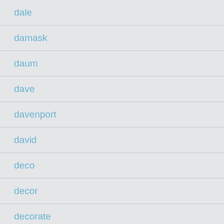dale
damask
daum
dave
davenport
david
deco
decor
decorate
decorative
deep
design
designer